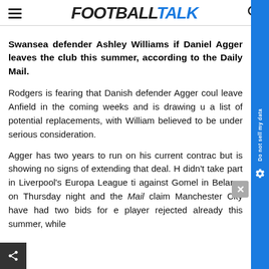FOOTBALL TALK
Swansea defender Ashley Williams if Daniel Agger leaves the club this summer, according to the Daily Mail.
Rodgers is fearing that Danish defender Agger could leave Anfield in the coming weeks and is drawing up a list of potential replacements, with Williams believed to be under serious consideration.
Agger has two years to run on his current contract, but is showing no signs of extending that deal. He didn't take part in Liverpool's Europa League tie against Gomel in Belarus on Thursday night and the Mail claim Manchester City have had two bids for the player rejected already this summer, while